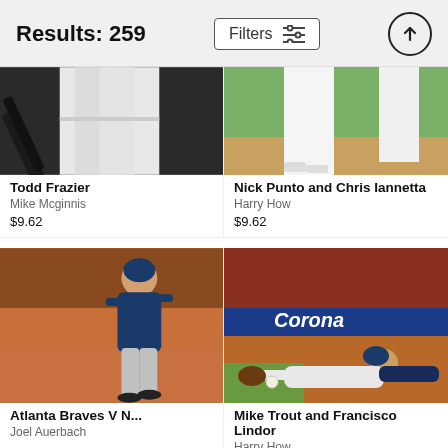Results: 259
[Figure (photo): Partial baseball photo - Todd Frazier, player with bat, cropped at top]
[Figure (photo): Partial baseball photo - Nick Punto and Chris Iannetta on field, cropped at top]
Todd Frazier
Mike Mcginnis
$9.62
Nick Punto and Chris Iannetta
Harry How
$9.62
[Figure (photo): Atlanta Braves player running on field, stadium crowd behind, player wearing navy uniform]
[Figure (photo): Baseball player diving to catch ball, Corona beer advertisement banner behind]
Atlanta Braves V N...
Joel Auerbach
Mike Trout and Francisco Lindor
Harry How